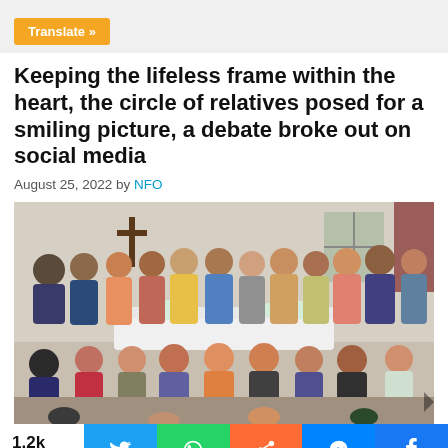Translate »
Keeping the lifeless frame within the heart, the circle of relatives posed for a smiling picture, a debate broke out on social media
August 25, 2022 by NFO
[Figure (photo): A large group of relatives posing for a photo around a white casket decorated with white flowers, inside what appears to be a home or church hall. People of various ages stand and sit in rows.]
1.2k Shares